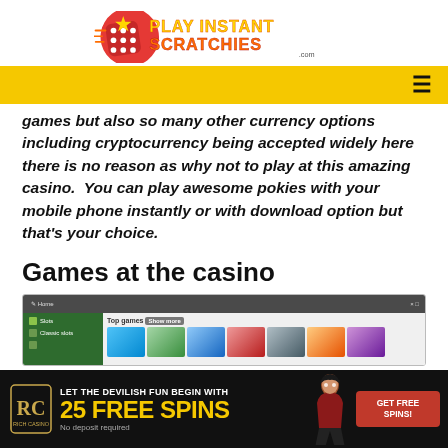[Figure (logo): Play Instant Scratchies logo with red dice and yellow/orange text]
Navigation bar with hamburger menu icon
games but also so many other currency options including cryptocurrency being accepted widely here there is no reason as why not to play at this amazing casino. You can play awesome pokies with your mobile phone instantly or with download option but that’s your choice.
Games at the casino
[Figure (screenshot): Screenshot of casino website showing green sidebar with Slots and Classic slots menu, and Top games section with game tiles]
[Figure (infographic): Rich Casino ad banner: LET THE DEVILISH FUN BEGIN WITH 25 FREE SPINS, No deposit required, GET FREE SPINS button, female character illustration]